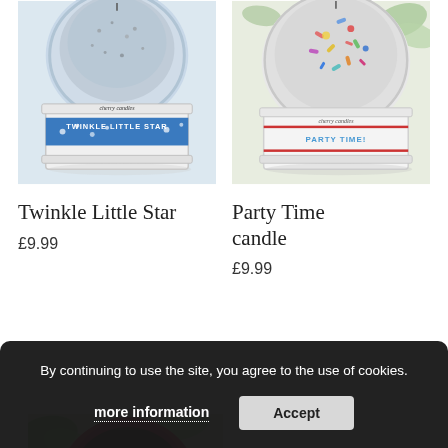[Figure (photo): Twinkle Little Star candle tin with blue star label and glitter top]
[Figure (photo): Party Time candle tin with colorful sprinkles on top]
Twinkle Little Star
£9.99
Party Time candle
£9.99
[Figure (photo): Partial view of a red/pink round candle or product with dark label]
By continuing to use the site, you agree to the use of cookies.
more information
Accept